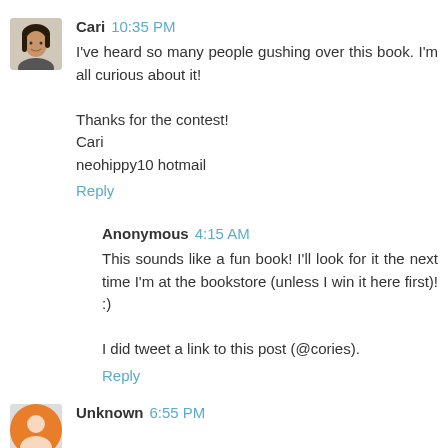Cari 10:35 PM
I've heard so many people gushing over this book. I'm all curious about it!

Thanks for the contest!
Cari
neohippy10 hotmail
Reply
Anonymous 4:15 AM
This sounds like a fun book! I'll look for it the next time I'm at the bookstore (unless I win it here first)! :)

I did tweet a link to this post (@cories).
Reply
Unknown 6:55 PM